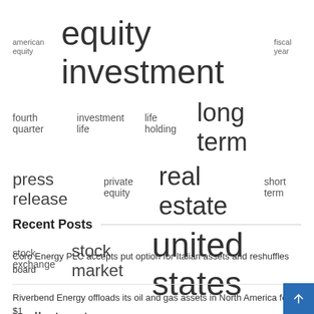[Figure (infographic): Tag cloud of financial and investment terms in varying font sizes, including: american equity, equity investment, fiscal year, fourth quarter, investment life, life holding, long term, press release, private equity, real estate, short term, stock exchange, stock market, united states, wall street]
Recent Posts
Coro Energy PLC accepts put option for Italian assets and reshuffles board
Riverbend Energy offloads its oil and gas assets in North America for $1 billion